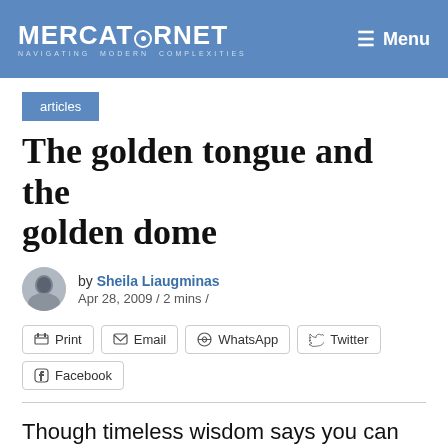MERCATORNET — Navigating Modern Complexities | Menu
articles
The golden tongue and the golden dome
by Sheila Liaugminas
Apr 28, 2009 / 2 mins /
Print | Email | WhatsApp | Twitter | Facebook
Though timeless wisdom says you can fool all of the people some of